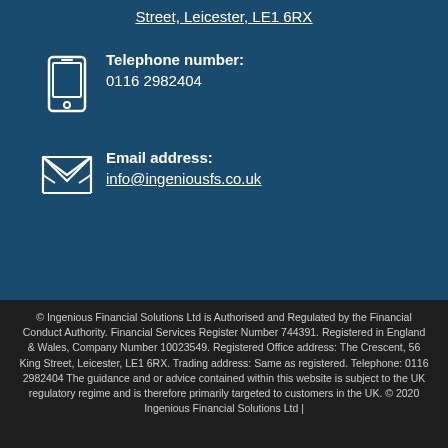Street, Leicester, LE1 6RX
Telephone number: 0116 2982404
Email address: info@ingeniousfs.co.uk
© Ingenious Financial Solutions Ltd is Authorised and Regulated by the Financial Conduct Authority. Financial Services Register Number 744391. Registered in England & Wales, Company Number 10023549. Registered Office address: The Crescent, 56 King Street, Leicester, LE1 6RX. Trading address: Same as registered. Telephone: 0116 2982404 The guidance and or advice contained within this website is subject to the UK regulatory regime and is therefore primarily targeted to customers in the UK. © 2020 Ingenious Financial Solutions Ltd |